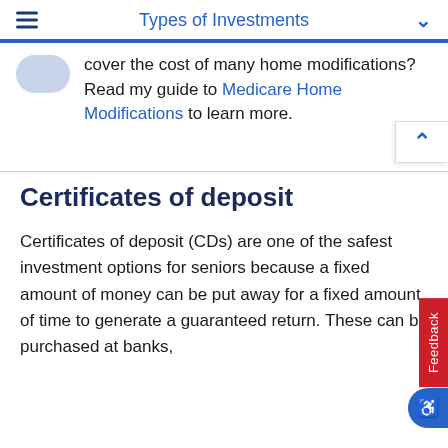Types of Investments
cover the cost of many home modifications? Read my guide to Medicare Home Modifications to learn more.
Certificates of deposit
Certificates of deposit (CDs) are one of the safest investment options for seniors because a fixed amount of money can be put away for a fixed amount of time to generate a guaranteed return. These can be purchased at banks,